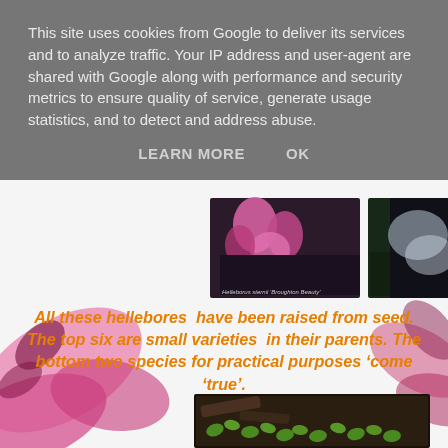[Figure (screenshot): Cookie consent banner overlay on a webpage with gray semi-transparent background, containing disclaimer text and LEARN MORE / OK buttons]
This site uses cookies from Google to deliver its services and to analyze traffic. Your IP address and user-agent are shared with Google along with performance and security metrics to ensure quality of service, generate usage statistics, and to detect and address abuse.
LEARN MORE    OK
[Figure (photo): Row of two hellebore plant photos: left shows Helleborus sternii 'Broughton Beauty' with pink flowers, right shows Helleborus (various) with green berries/buds. Partially obscured by pink cyclamen flower in foreground.]
All these hellebores  have been raised from seed. The top six are small varieties  in their parents. The bottom two species for practical purposes 'come true'.
[Figure (photo): Bottom photo showing hellebore seedlings with small green oval leaves growing from dark soil near old roots/wood.]